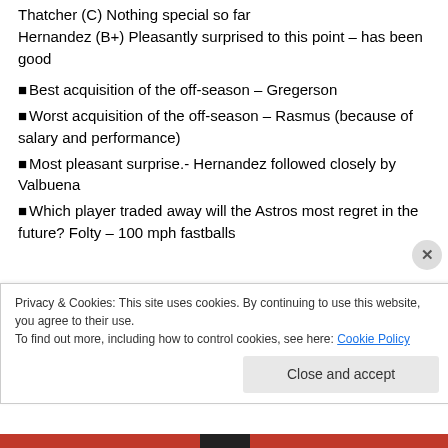Thatcher (C) Nothing special so far
Hernandez (B+) Pleasantly surprised to this point – has been good
Best acquisition of the off-season – Gregerson
Worst acquisition of the off-season – Rasmus (because of salary and performance)
Most pleasant surprise.- Hernandez followed closely by Valbuena
Which player traded away will the Astros most regret in the future? Folty – 100 mph fastballs
Privacy & Cookies: This site uses cookies. By continuing to use this website, you agree to their use.
To find out more, including how to control cookies, see here: Cookie Policy